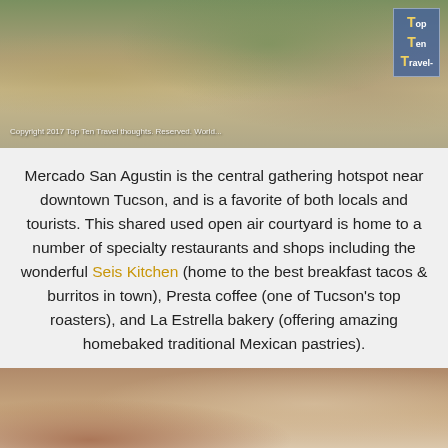[Figure (photo): Outdoor courtyard dining area with white metal chairs and tables, green plants, brick/stone pavement, sunny day. Copyright watermark and Top Ten Travel logo overlay visible.]
Mercado San Agustin is the central gathering hotspot near downtown Tucson, and is a favorite of both locals and tourists. This shared used open air courtyard is home to a number of specialty restaurants and shops including the wonderful Seis Kitchen (home to the best breakfast tacos & burritos in town), Presta coffee (one of Tucson's top roasters), and La Estrella bakery (offering amazing homebaked traditional Mexican pastries).
[Figure (photo): Close-up of tiled floor/table surface with muted tones, partial view of white cup at right edge.]
Sterling  OPEN | 10AM–9PM
45210 Towlern Place, Sterling